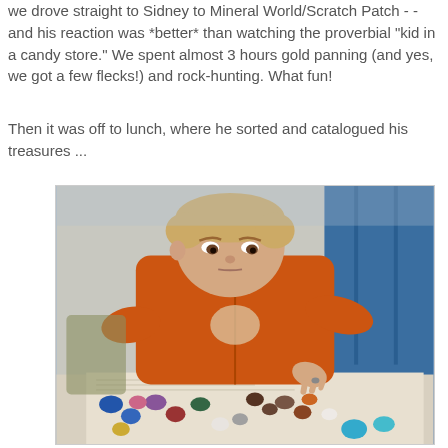we drove straight to Sidney to Mineral World/Scratch Patch -- and his reaction was *better* than watching the proverbial "kid in a candy store." We spent almost 3 hours gold panning (and yes, we got a few flecks!) and rock-hunting. What fun!
Then it was off to lunch, where he sorted and catalogued his treasures ...
[Figure (photo): A boy wearing an orange hoodie sweatshirt sits at a table sorting and cataloguing a collection of colorful tumbled rocks and gemstones spread out on a surface.]